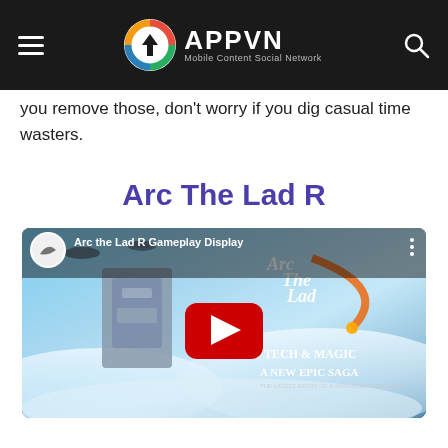APPVN Mobile Content Social Network
you remove those, don't worry if you dig casual time wasters.
Arc The Lad R
[Figure (screenshot): YouTube video thumbnail for 'Arc the Lad R Gameplay Display' showing game artwork with airships, a large mechanical boss, anime characters, and the Arc the Lad logo. Text reads 'Tech & Magic A New Epic Saga'. A red YouTube play button is centered on the thumbnail.]